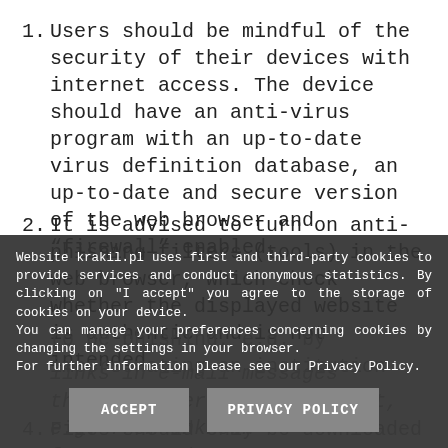1. Users should be mindful of the security of their devices with internet access. The device should have an anti-virus program with an up-to-date virus definition database, an up-to-date and secure version of the web browser and “firewall” enabled.
2. It is advised to turn on anti-phishing filters (tools) in the web browser, which check whether the displayed website is authentic and is not intended to be phishing, e.g. by impersonating an institution
3. [partially obscured] ...links in e-mail messages that the user did not expect, e.g. from unknown senders, and to avoid contacting the s...
4. Files should only be downloaded from trusted
Website krakil.pl uses first and third-party cookies to provide services and conduct anonymous statistics. By clicking on "I accept" you agree to the storage of cookies on your device. You can manage your preferences concerning cookies by changing the settings in your browser. For further information please see our Privacy Policy.